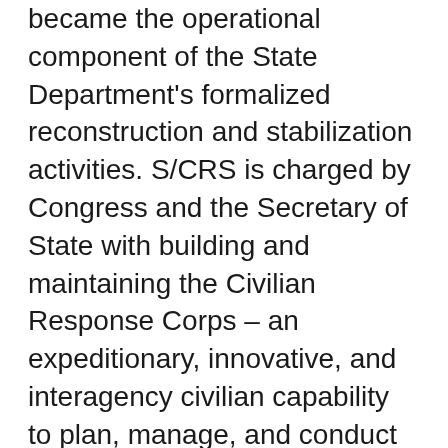became the operational component of the State Department's formalized reconstruction and stabilization activities. S/CRS is charged by Congress and the Secretary of State with building and maintaining the Civilian Response Corps – an expeditionary, innovative, and interagency civilian capability to plan, manage, and conduct U.S. stabilization operations on behalf of the Secretary of State and Chiefs of Mission overseas. Today, powered by a partnership with eight different agencies, S/CRS and the Corps have become the embodiment of Secretary Clinton's concept of smart power to enhance the United States' institutional capacity to respond to crises involving failing, failed, and post-conflict states and complex emergencies. You can find